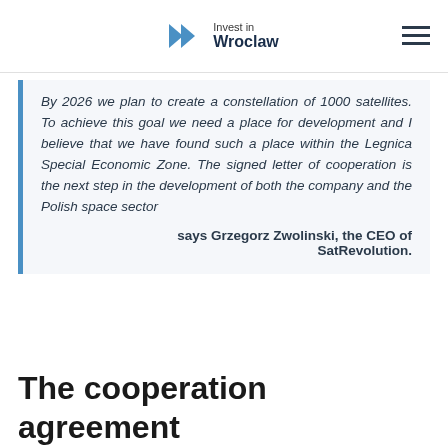Invest in Wroclaw
By 2026 we plan to create a constellation of 1000 satellites. To achieve this goal we need a place for development and I believe that we have found such a place within the Legnica Special Economic Zone. The signed letter of cooperation is the next step in the development of both the company and the Polish space sector

says Grzegorz Zwolinski, the CEO of SatRevolution.
The cooperation agreement